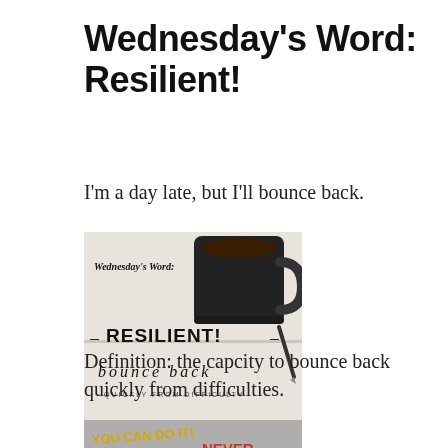Wednesday's Word: Resilient!
I'm a day late, but I'll bounce back.
[Figure (illustration): Decorative image showing a black coffee mug on a surface with text overlay: 'Wednesday's Word:' at top, '= RESILIENT! =' in bold center, 'bounce back' in italic script, 'QUICKLY FROM DIFFICULTY' in small caps at bottom. A pen rests beside the mug.]
Definition: the capcity to bounce back quickly from difficulties.
[Figure (illustration): Partial image showing text 'YOU CAN DO IT!' in yellow and '= NEVER =' in red on a gray background, partially cropped at bottom of page.]